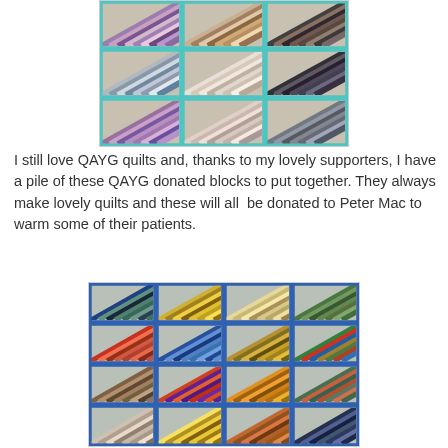[Figure (photo): A colorful patchwork QAYG (Quilt As You Go) quilt with diagonal striped blocks in various fabrics, bordered with teal/turquoise sashing, hung or displayed outdoors.]
I still love QAYG quilts and, thanks to my lovely supporters, I have a pile of these QAYG donated blocks to put together. They always make lovely quilts and these will all  be donated to Peter Mac to warm some of their patients.
[Figure (photo): A second colorful patchwork QAYG quilt with diagonal striped blocks in various bright fabrics, bordered with blue sashing, displayed outdoors.]